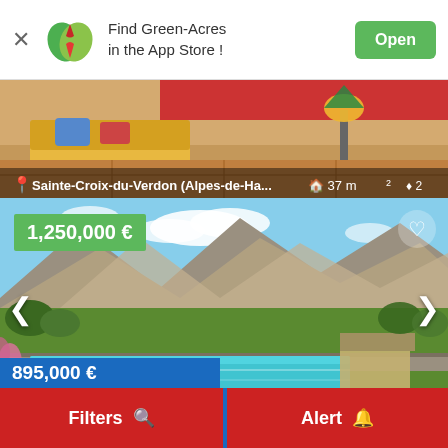[Figure (screenshot): Green-Acres app store banner with logo, text, and Open button]
[Figure (photo): Interior room photo with yellow sofa and lamp - property listing for Sainte-Croix-du-Verdon, 37 m2, 2 rooms]
Sainte-Croix-du-Verdon (Alpes-de-Ha...   37 m²   2
[Figure (photo): Exterior photo of property with swimming pool and mountain backdrop, listed at 1,250,000 €]
1,250,000 €
895,000 €
Filters 🔍
Alert 🔔